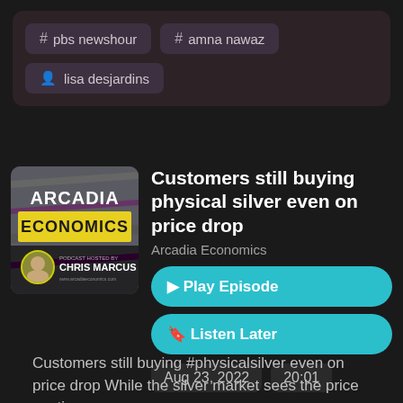# pbs newshour
# amna nawaz
lisa desjardins
Customers still buying physical silver even on price drop
Arcadia Economics
Play Episode
Listen Later
Aug 23, 2022   20:01
Customers still buying #physicalsilver even on price drop While the silver market sees the price continue